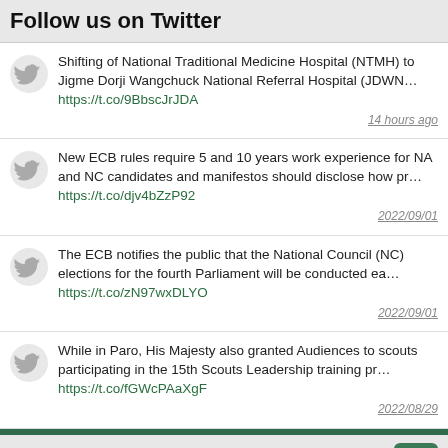Follow us on Twitter
Shifting of National Traditional Medicine Hospital (NTMH) to Jigme Dorji Wangchuck National Referral Hospital (JDWN... https://t.co/9BbscJrJDA 14 hours ago
New ECB rules require 5 and 10 years work experience for NA and NC candidates and manifestos should disclose how pr... https://t.co/djv4bZzP92 2022/09/01
The ECB notifies the public that the National Council (NC) elections for the fourth Parliament will be conducted ea... https://t.co/zN97wxDLYO 2022/09/01
While in Paro, His Majesty also granted Audiences to scouts participating in the 15th Scouts Leadership training pr... https://t.co/fGWcPAaXgF 2022/08/29
Find us on Facebook